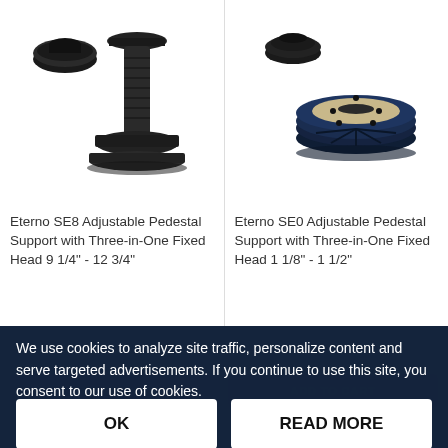[Figure (photo): Eterno SE8 adjustable pedestal support product photo showing pedestal with threaded column and base cap components, matte black plastic]
Eterno SE8 Adjustable Pedestal Support with Three-in-One Fixed Head 9 1/4" - 12 3/4"
[Figure (photo): Eterno SE0 adjustable pedestal support product photo showing flat circular disc base with center fitting, dark navy/black plastic]
Eterno SE0 Adjustable Pedestal Support with Three-in-One Fixed Head 1 1/8" - 1 1/2"
We use cookies to analyze site traffic, personalize content and serve targeted advertisements. If you continue to use this site, you consent to our use of cookies.
OK
READ MORE